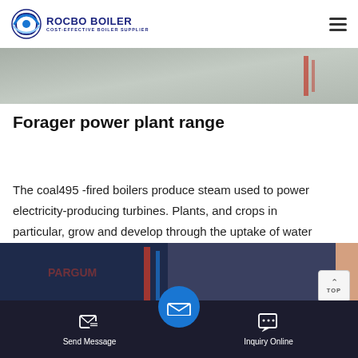ROCBO BOILER — COST-EFFECTIVE BOILER SUPPLIER
[Figure (photo): Top banner image showing industrial boiler/plant equipment in muted tones]
Forager power plant range
The coal495 -fired boilers produce steam used to power electricity-producing turbines. Plants, and crops in particular, grow and develop through the uptake of water The range units were Pickering Hills, Luckhurst, Power Plant, and Newgate. 700 μGy/h
[Figure (photo): Bottom banner image showing industrial boiler machinery with dark blue tones on left and orange/red pipes on right]
Send Message    Inquiry Online